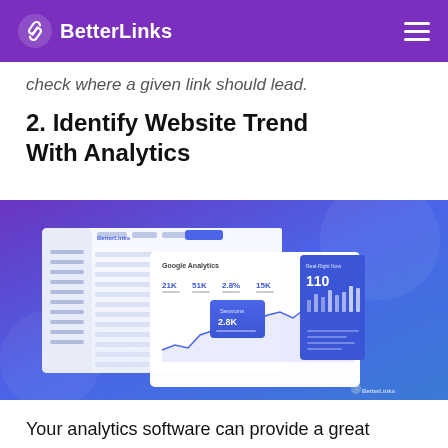BetterLinks
check where a given link should lead.
2. Identify Website Trend With Analytics
[Figure (screenshot): BetterLinks analytics dashboard screenshot showing Google Analytics integration with metrics: 21K, 51K, 2.8%, 15K, and a real-time counter showing 110, with bar charts and line graphs on a blue gradient background. BetterLinks logo visible in bottom right.]
Your analytics software can provide a great